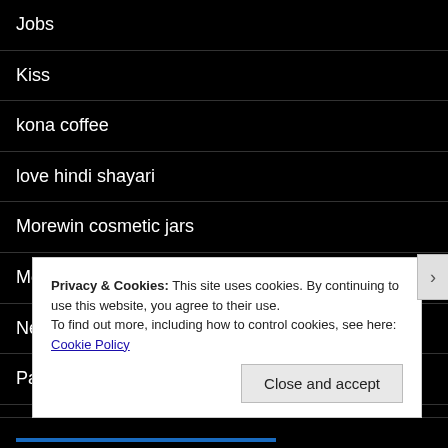Jobs
Kiss
kona coffee
love hindi shayari
Morewin cosmetic jars
Movie HD APP
News
Payday Loans Fast Payout
pet
Privacy & Cookies: This site uses cookies. By continuing to use this website, you agree to their use.
To find out more, including how to control cookies, see here: Cookie Policy
Close and accept